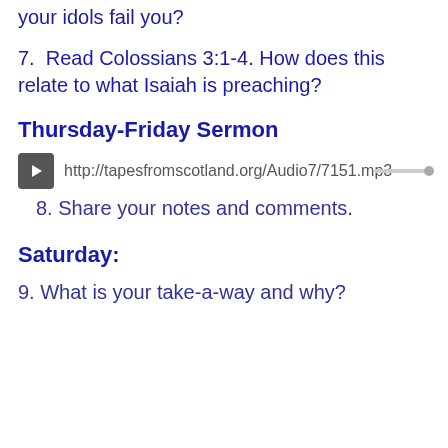your idols fail you?
7.  Read Colossians 3:1-4. How does this relate to what Isaiah is preaching?
Thursday-Friday Sermon
[Figure (other): Audio player with play button and URL: http://tapesfromscotland.org/Audio7/7151.mp3]
8. Share your notes and comments.
Saturday:
9. What is your take-a-way and why?